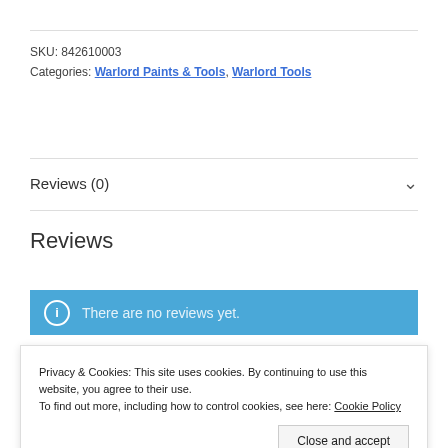SKU: 842610003
Categories: Warlord Paints & Tools, Warlord Tools
Reviews (0)
Reviews
There are no reviews yet.
Privacy & Cookies: This site uses cookies. By continuing to use this website, you agree to their use. To find out more, including how to control cookies, see here: Cookie Policy
Close and accept